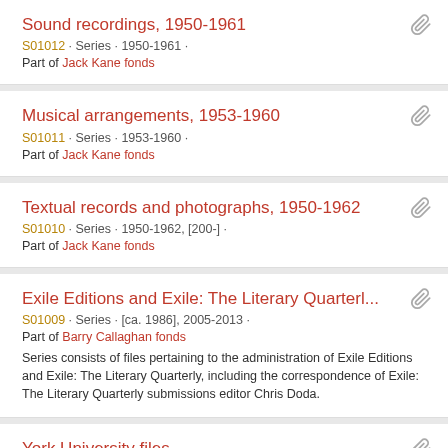Sound recordings, 1950-1961
S01012 · Series · 1950-1961 ·
Part of Jack Kane fonds
Musical arrangements, 1953-1960
S01011 · Series · 1953-1960 ·
Part of Jack Kane fonds
Textual records and photographs, 1950-1962
S01010 · Series · 1950-1962, [200-] ·
Part of Jack Kane fonds
Exile Editions and Exile: The Literary Quarterl...
S01009 · Series · [ca. 1986], 2005-2013 ·
Part of Barry Callaghan fonds
Series consists of files pertaining to the administration of Exile Editions and Exile: The Literary Quarterly, including the correspondence of Exile: The Literary Quarterly submissions editor Chris Doda.
York University files